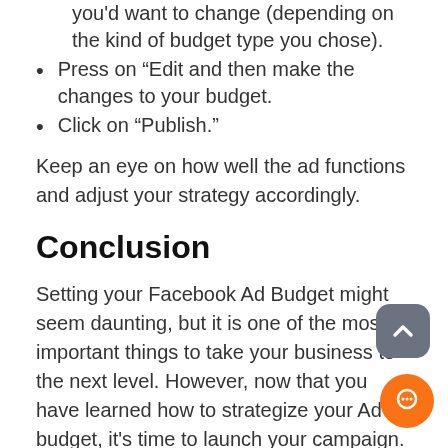you'd want to change (depending on the kind of budget type you chose).
Press on “Edit and then make the changes to your budget.
Click on “Publish.”
Keep an eye on how well the ad functions and adjust your strategy accordingly.
Conclusion
Setting your Facebook Ad Budget might seem daunting, but it is one of the most important things to take your business to the next level. However, now that you have learned how to strategize your Ad budget, it's time to launch your campaign.